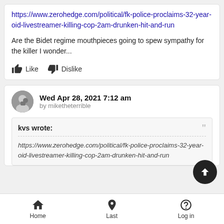https://www.zerohedge.com/political/fk-police-proclaims-32-year-oid-livestreamer-killing-cop-2am-drunken-hit-and-run
Are the Bidet regime mouthpieces going to spew sympathy for the killer I wonder...
Like  Dislike
Wed Apr 28, 2021 7:12 am
by miketheterrible
kvs wrote:
https://www.zerohedge.com/political/fk-police-proclaims-32-year-oid-livestreamer-killing-cop-2am-drunken-hit-and-run
Home  Last  Log in